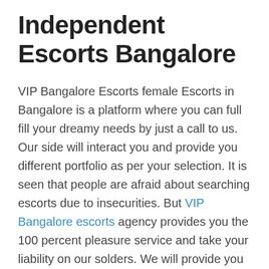Independent Escorts Bangalore
VIP Bangalore Escorts female Escorts in Bangalore is a platform where you can full fill your dreamy needs by just a call to us. Our side will interact you and provide you different portfolio as per your selection. It is seen that people are afraid about searching escorts due to insecurities. But VIP Bangalore escorts agency provides you the 100 percent pleasure service and take your liability on our solders. We will provide you excellence escorts who are available in different working and feeling zone. All escorts are well trained in different internationally recognized methods of love making. They will bring in an another life of enjoyable when you bite their soft natural lips. When your Tung rotated in their mouth like a